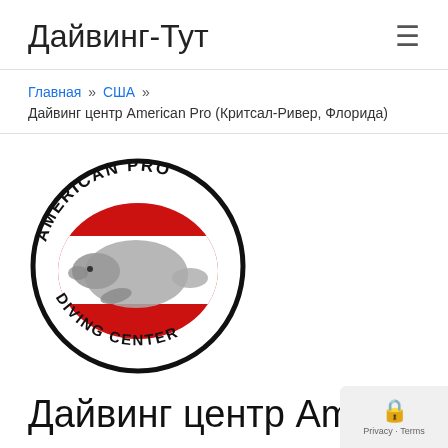Дайвинг-Тут
Главная » США » Дайвинг центр American Pro (Критсал-Ривер, Флорида)
[Figure (logo): American Pro Diving Center logo — circular design with manatee illustration on red and white diver-down flag background, bold text reading AMERICAN PRO around top arc and DIVING CENTER around bottom arc]
Дайвинг центр American Pro